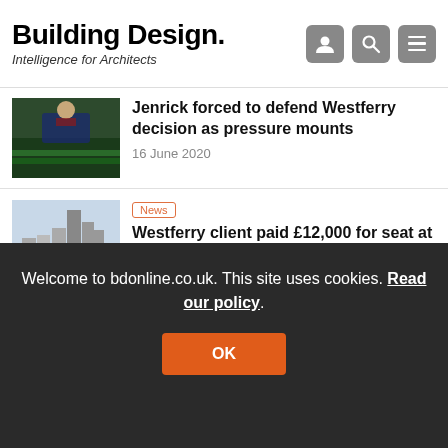Building Design. Intelligence for Architects
Jenrick forced to defend Westferry decision as pressure mounts
16 June 2020
Westferry client paid £12,000 for seat at Tory fundraising dinner
12 June 2020
Welcome to bdonline.co.uk. This site uses cookies. Read our policy.
11 June 2020